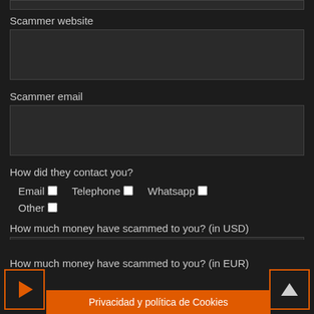Scammer website
[text input box]
Scammer email
[text input box]
How did they contact you?
Email  ☐   Telephone  ☐   Whatsapp  ☐
Other  ☐
How much money have scammed to you? (in USD)
[text input box]
How much money have scammed to you? (in EUR)
Privacidad y política de Cookies